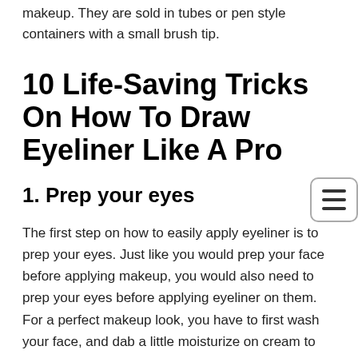makeup. They are sold in tubes or pen style containers with a small brush tip.
10 Life-Saving Tricks On How To Draw Eyeliner Like A Pro
1. Prep your eyes
The first step on how to easily apply eyeliner is to prep your eyes. Just like you would prep your face before applying makeup, you would also need to prep your eyes before applying eyeliner on them. For a perfect makeup look, you have to first wash your face, and dab a little moisturize on cream to reduce the chances of irritation, redness, or